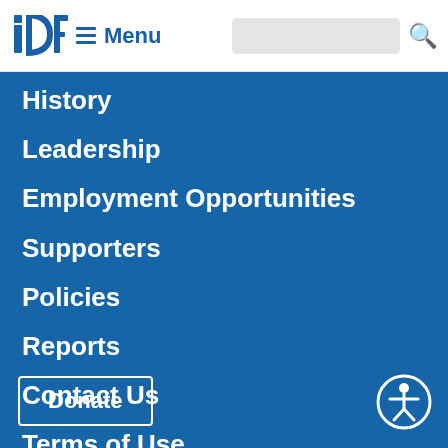IDF Menu
History
Leadership
Employment Opportunities
Supporters
Policies
Reports
Contact Us
Terms of Use
Donate
[Figure (illustration): Accessibility icon: circle with stylized person figure]